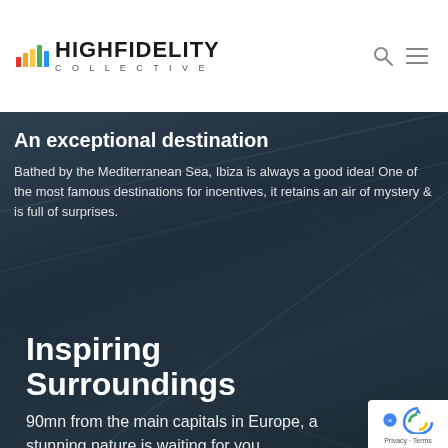HIGHFIDELITY COLLECTIVE
An exceptional destination
Bathed by the Mediterranean Sea, Ibiza is always a good idea! One of the most famous destinations for incentives, it retains an air of mystery & is full of surprises.
Inspiring Surroundings
90mn from the main capitals in Europe, a stunning nature is waiting for you